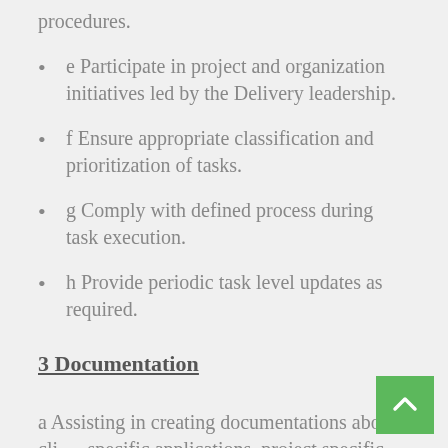procedures.
e Participate in project and organization initiatives led by the Delivery leadership.
f Ensure appropriate classification and prioritization of tasks.
g Comply with defined process during task execution.
h Provide periodic task level updates as required.
3 Documentation
a Assisting in creating documentations about client specific applications, project specific processes and workflows